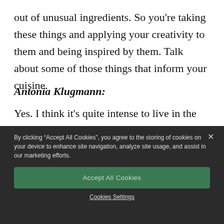out of unusual ingredients. So you’re taking these things and applying your creativity to them and being inspired by them. Talk about some of those things that inform your cuisine.
Antonia Klugmann:
Yes. I think it’s quite intense to live in the
[Figure (screenshot): Cookie consent banner with dark background showing text: 'By clicking “Accept All Cookies”, you agree to the storing of cookies on your device to enhance site navigation, analyze site usage, and assist in our marketing efforts.' A green 'Accept All Cookies' button and an underlined 'Cookies Settings' link below it.]